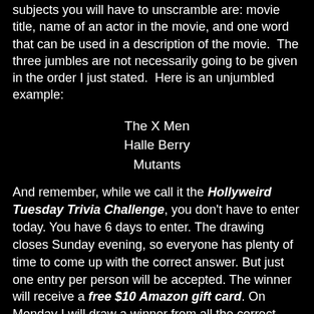subjects you will have to unscramble are: movie title, name of an actor in the movie, and one word that can be used in a description of the movie.  The three jumbles are not necessarily going to be given in the order I just stated.  Here is an unjumbled example:
The X Men
Halle Berry
Mutants
And remember, while we call it the Hollyweird Tuesday Trivia Challenge, you don't have to enter today. You have 6 days to enter. The drawing closes Sunday evening, so everyone has plenty of time to come up with the correct answer. But just one entry per person will be accepted. The winner will receive a free $10 Amazon gift card. On Monday I will draw a winner from all the correct answers, and post the winner here next Tuesday. Are you ready for the challenge?
Here ya go: